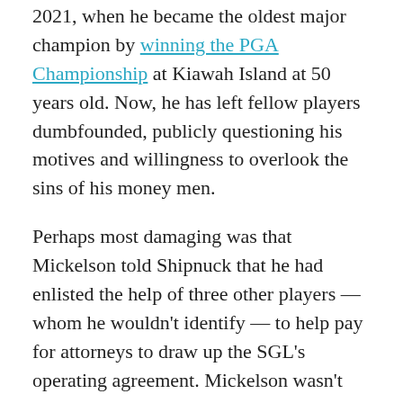2021, when he became the oldest major champion by winning the PGA Championship at Kiawah Island at 50 years old. Now, he has left fellow players dumbfounded, publicly questioning his motives and willingness to overlook the sins of his money men.
Perhaps most damaging was that Mickelson told Shipnuck that he had enlisted the help of three other players — whom he wouldn't identify — to help pay for attorneys to draw up the SGL's operating agreement. Mickelson wasn't just joining a rival league; he was helping create one. Mickelson hasn't played in the past four PGA Tour events and is now taking a break from the game for an unspecified amount of time. Whether that is a voluntary break, or a disciplinary measure handed down by the PGA Tour, is unclear. The PGA Tour does not publicly announce suspensions.